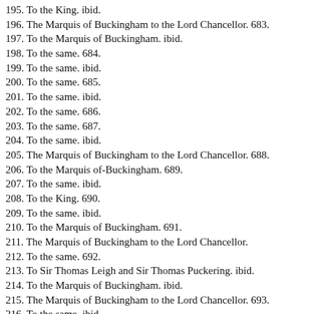195. To the King. ibid.
196. The Marquis of Buckingham to the Lord Chancellor. 683.
197. To the Marquis of Buckingham. ibid.
198. To the same. 684.
199. To the same. ibid.
200. To the same. 685.
201. To the same. ibid.
202. To the same. 686.
203. To the same. 687.
204. To the same. ibid.
205. The Marquis of Buckingham to the Lord Chancellor. 688.
206. To the Marquis of-Buckingham. 689.
207. To the same. ibid.
208. To the King. 690.
209. To the same. ibid.
210. To the Marquis of Buckingham. 691.
211. The Marquis of Buckingham to the Lord Chancellor.
212. To the same. 692.
213. To Sir Thomas Leigh and Sir Thomas Puckering. ibid.
214. To the Marquis of Buckingham. ibid.
215. The Marquis of Buckingham to the Lord Chancellor. 693.
216. To the same. ibid.
217. To the Marquis of Buckingham. ibid.
218. Marquis of Buckingham to the Lord Chancellor. p.694.
219. To the Marquis of Buckingham. 695.